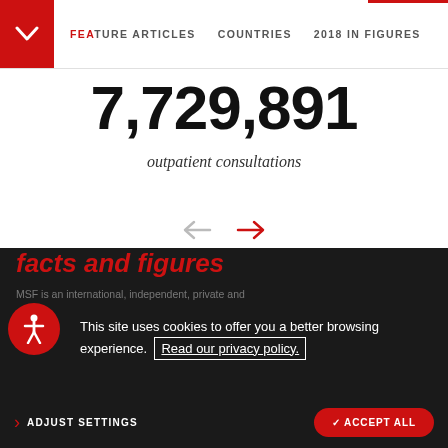FEATURE ARTICLES   COUNTRIES   2018 IN FIGURES
7,729,891
outpatient consultations
[Figure (infographic): Navigation arrows: grey left arrow and red right arrow for cycling through statistics]
This site uses cookies to offer you a better browsing experience.  Read our privacy policy.
facts and figures
MSF is an international, independent, private an...
ADJUST SETTINGS   ✓ ACCEPT ALL